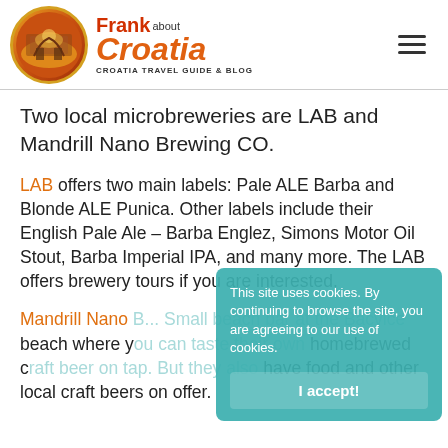[Figure (logo): Frank about Croatia logo — circular badge with travel imagery, orange and red text reading 'Frank about Croatia — Croatia Travel Guide & Blog']
Two local microbreweries are LAB and Mandrill Nano Brewing CO.
LAB offers two main labels: Pale ALE Barba and Blonde ALE Punica. Other labels include their English Pale Ale – Barba Englez, Simons Motor Oil Stout, Barba Imperial IPA, and many more. The LAB offers brewery tours if you are interested.
Mandrill Nano [Brewing CO. has] a Small beach bar at the Bacvice beach where you can taste their own homebrewed craft beer on tap. But they also have food and other local craft beers on offer.
This site uses cookies. By continuing to browse the site, you are agreeing to our use of cookies.
I accept!